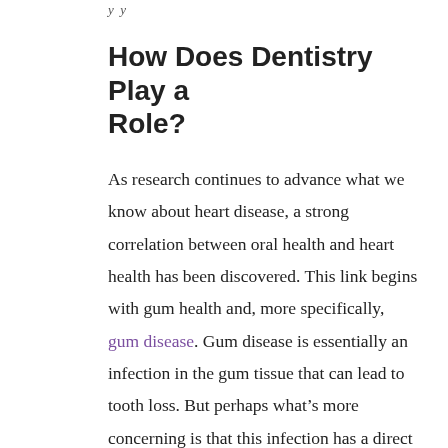y y
How Does Dentistry Play a Role?
As research continues to advance what we know about heart disease, a strong correlation between oral health and heart health has been discovered. This link begins with gum health and, more specifically, gum disease. Gum disease is essentially an infection in the gum tissue that can lead to tooth loss. But perhaps what’s more concerning is that this infection has a direct route to the bloodstream. If it spreads, your body will produce excessive amounts of C-reactive protein (CRP), which is one of the known indicators of cardiovascular disease. Elevated levels of CRP can lead to some serious health issues including: